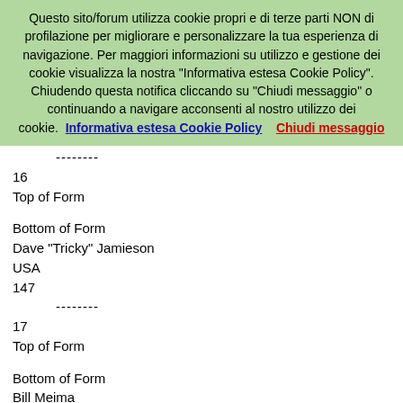Questo sito/forum utilizza cookie propri e di terze parti NON di profilazione per migliorare e personalizzare la tua esperienza di navigazione. Per maggiori informazioni su utilizzo e gestione dei cookie visualizza la nostra "Informativa estesa Cookie Policy". Chiudendo questa notifica cliccando su "Chiudi messaggio" o continuando a navigare acconsenti al nostro utilizzo dei cookie.  Informativa estesa Cookie Policy    Chiudi messaggio
--------
16
Top of Form
Bottom of Form
Dave "Tricky" Jamieson
USA
147
--------
17
Top of Form
Bottom of Form
Bill Meima
New Jersey, USA
141
--------
18
Top of Form
Bottom of Form
Jimmy "The General" Glanville